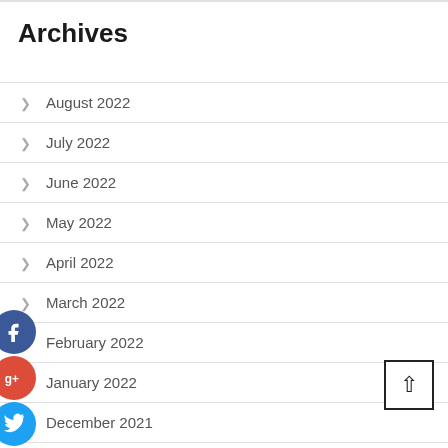Archives
August 2022
July 2022
June 2022
May 2022
April 2022
March 2022
February 2022
January 2022
December 2021
November 2021
October 2021
[Figure (infographic): Social sharing icons: Facebook (blue circle with f), Google+ (red circle with g+), Twitter (blue circle with bird), Add/More (dark blue circle with +)]